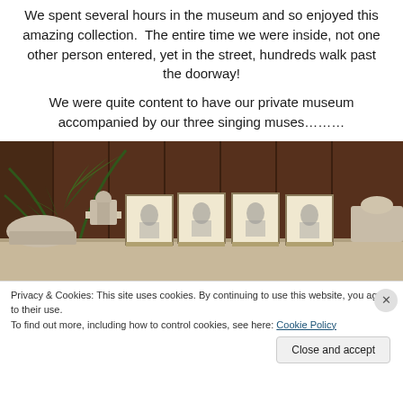We spent several hours in the museum and so enjoyed this amazing collection.  The entire time we were inside, not one other person entered, yet in the street, hundreds walk past the doorway!
We were quite content to have our private museum accompanied by our three singing muses………
[Figure (photo): Interior of a museum showing stone sculptures and framed drawings/sketches on display stands, with a large palm plant in the background against dark wood-paneled walls.]
Privacy & Cookies: This site uses cookies. By continuing to use this website, you agree to their use. To find out more, including how to control cookies, see here: Cookie Policy